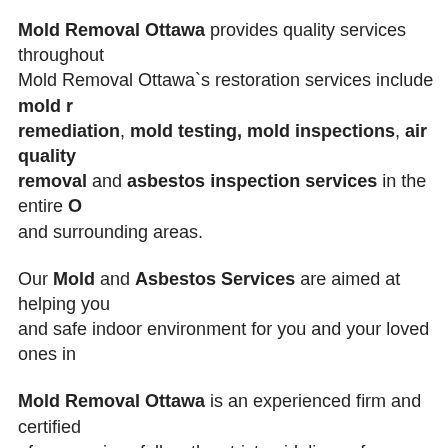Mold Removal Ottawa provides quality services throughout. Mold Removal Ottawa`s restoration services include mold remediation, mold testing, mold inspections, air quality removal and asbestos inspection services in the entire O and surrounding areas.
Our Mold and Asbestos Services are aimed at helping you and safe indoor environment for you and your loved ones in
Mold Removal Ottawa is an experienced firm and certified of our services follow the strict guidelines of our IICRC traini that have the same training and certifications should be pref removal and mould remediation and asbestos removal s or business.
Mold Removal Ottawa takes every precaution during the M asbestos removal process to ensure your physical health protection from contamination and history...